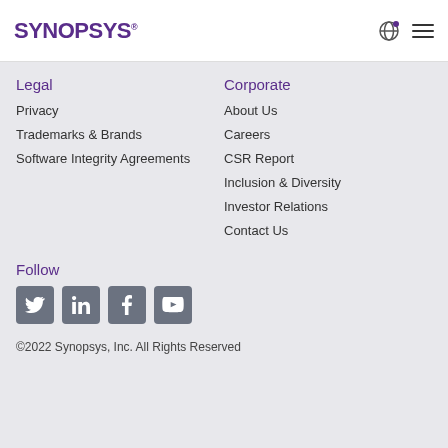SYNOPSYS®
Legal
Privacy
Trademarks & Brands
Software Integrity Agreements
Corporate
About Us
Careers
CSR Report
Inclusion & Diversity
Investor Relations
Contact Us
Follow
[Figure (illustration): Social media icons: Twitter, LinkedIn, Facebook, YouTube]
©2022 Synopsys, Inc. All Rights Reserved